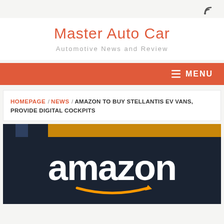RSS icon / navigation header
Master Auto Car
Automotive News and Review
MENU
HOMEPAGE / NEWS / AMAZON TO BUY STELLANTIS EV VANS, PROVIDE DIGITAL COCKPITS
[Figure (photo): Amazon logo on dark background with orange/gold stripe banner at top]